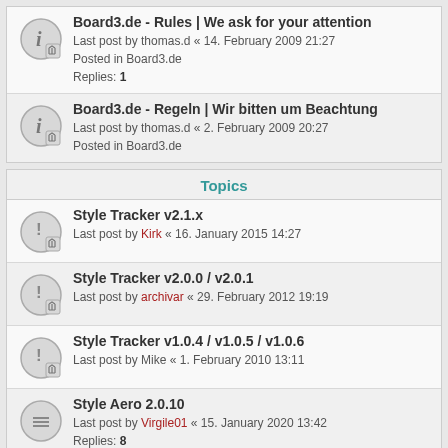Board3.de - Rules | We ask for your attention
Last post by thomas.d « 14. February 2009 21:27
Posted in Board3.de
Replies: 1
Board3.de - Regeln | Wir bitten um Beachtung
Last post by thomas.d « 2. February 2009 20:27
Posted in Board3.de
Topics
Style Tracker v2.1.x
Last post by Kirk « 16. January 2015 14:27
Style Tracker v2.0.0 / v2.0.1
Last post by archivar « 29. February 2012 19:19
Style Tracker v1.0.4 / v1.0.5 / v1.0.6
Last post by Mike « 1. February 2010 13:11
Style Aero 2.0.10
Last post by Virgile01 « 15. January 2020 13:42
Replies: 8
Style Request Black 3.2.1
Last post by Holyna « 19. November 2017 14:24
Replies: 4
Harmony Style
Last post by Lance « 7. February 2017 18:32
Replies: 2
we_universal 2.4.1 for phpBB 3.1.6